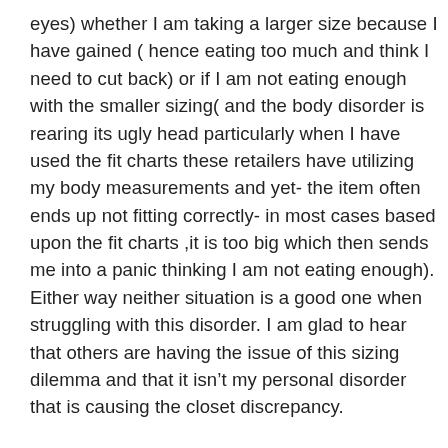eyes) whether I am taking a larger size because I have gained ( hence eating too much and think I need to cut back) or if I am not eating enough with the smaller sizing( and the body disorder is rearing its ugly head particularly when I have used the fit charts these retailers have utilizing my body measurements and yet- the item often ends up not fitting correctly- in most cases based upon the fit charts ,it is too big which then sends me into a panic thinking I am not eating enough). Either way neither situation is a good one when struggling with this disorder. I am glad to hear that others are having the issue of this sizing dilemma and that it isn't my personal disorder that is causing the closet discrepancy.